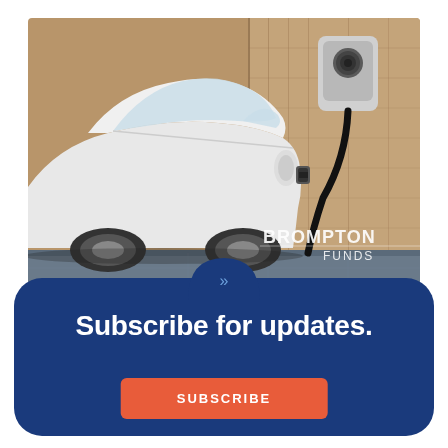[Figure (photo): White electric car being charged at a home EV charging station mounted on a wooden wall, with a charging cable plugged into the car and a wall-mounted charging unit visible in the background. Brompton Funds logo watermark in lower right.]
Subscribe for updates.
SUBSCRIBE